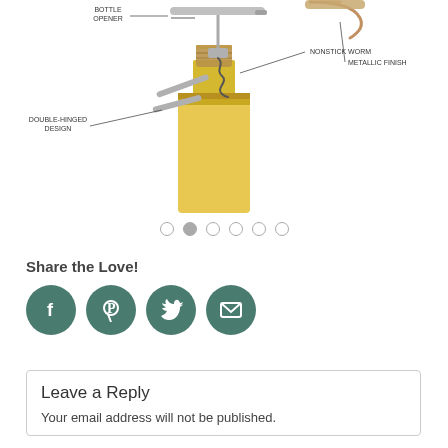[Figure (illustration): A diagram of a wine bottle opener (corkscrew/waiter's friend) inserted into a wine bottle cork. Labels point to: BOTTLE OPENER, NONSTICK WORM, METALLIC FINISH, DOUBLE-HINGED DESIGN. The bottle contains white/yellow wine. A second view of the opener is shown top-right.]
[Figure (infographic): Carousel navigation dots — six small circles, the second one filled/active.]
Share the Love!
[Figure (infographic): Four circular social media / share icons in teal/dark green: Facebook (f), Pinterest (P), Twitter (bird), Email (envelope).]
Leave a Reply
Your email address will not be published.